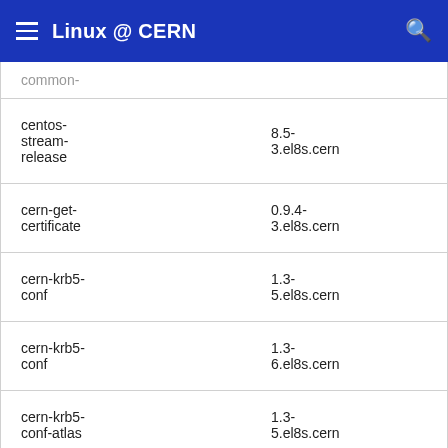Linux @ CERN
| Package | Version |
| --- | --- |
| common- |  |
| centos-stream-release | 8.5-3.el8s.cern |
| cern-get-certificate | 0.9.4-3.el8s.cern |
| cern-krb5-conf | 1.3-5.el8s.cern |
| cern-krb5-conf | 1.3-6.el8s.cern |
| cern-krb5-conf-atlas | 1.3-5.el8s.cern |